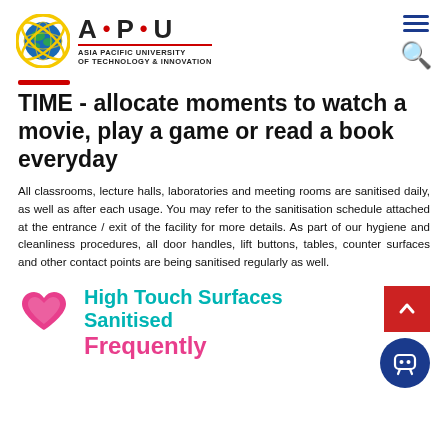[Figure (logo): Asia Pacific University (APU) logo with globe icon and text]
TIME - allocate moments to watch a movie, play a game or read a book everyday
All classrooms, lecture halls, laboratories and meeting rooms are sanitised daily, as well as after each usage. You may refer to the sanitisation schedule attached at the entrance / exit of the facility for more details. As part of our hygiene and cleanliness procedures, all door handles, lift buttons, tables, counter surfaces and other contact points are being sanitised regularly as well.
High Touch Surfaces Sanitised Frequently